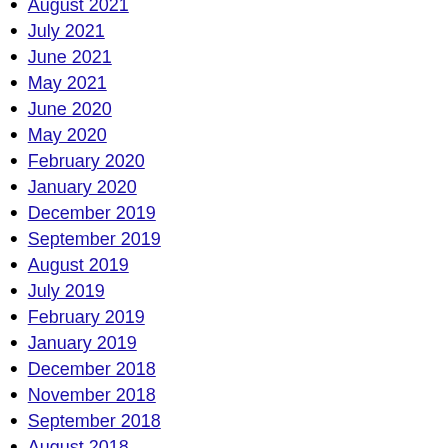August 2021
July 2021
June 2021
May 2021
June 2020
May 2020
February 2020
January 2020
December 2019
September 2019
August 2019
July 2019
February 2019
January 2019
December 2018
November 2018
September 2018
August 2018
July 2018
June 2018
June 2017
February 2017
January 2017
October 2016
September 2016